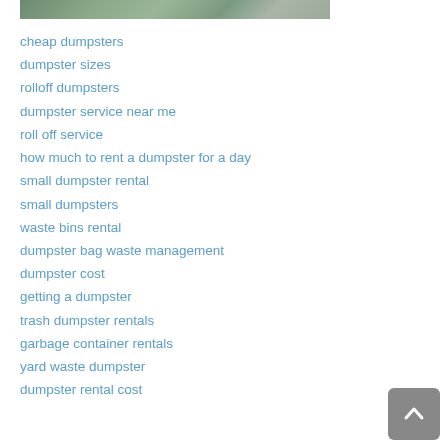[Figure (photo): Partial photo of a dumpster or outdoor scene showing greenery/grey tones at the top of the page]
cheap dumpsters
dumpster sizes
rolloff dumpsters
dumpster service near me
roll off service
how much to rent a dumpster for a day
small dumpster rental
small dumpsters
waste bins rental
dumpster bag waste management
dumpster cost
getting a dumpster
trash dumpster rentals
garbage container rentals
yard waste dumpster
dumpster rental cost